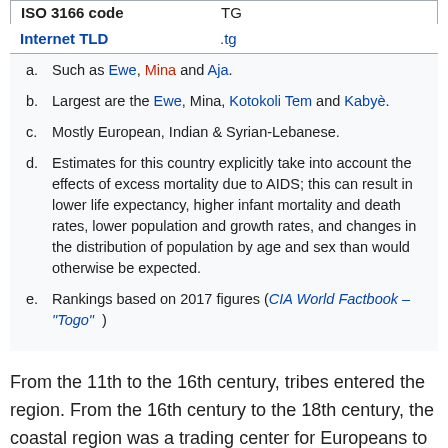| ISO 3166 code | TG |
| --- | --- |
| Internet TLD | .tg |
a. Such as Ewe, Mina and Aja.
b. Largest are the Ewe, Mina, Kotokoli Tem and Kabyè.
c. Mostly European, Indian & Syrian-Lebanese.
d. Estimates for this country explicitly take into account the effects of excess mortality due to AIDS; this can result in lower life expectancy, higher infant mortality and death rates, lower population and growth rates, and changes in the distribution of population by age and sex than would otherwise be expected.
e. Rankings based on 2017 figures (CIA World Factbook – "Togo")
From the 11th to the 16th century, tribes entered the region. From the 16th century to the 18th century, the coastal region was a trading center for Europeans to purchase slaves, earning Togo and the surrounding region the name "The Slave Coast". In 1884, Germany declared